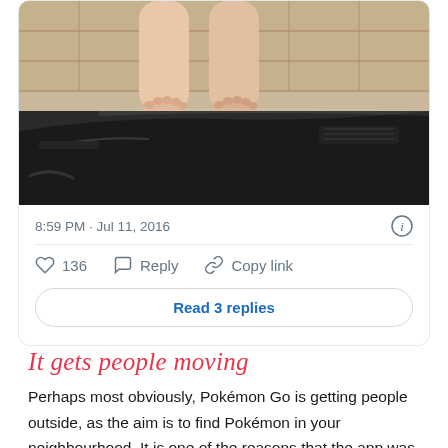[Figure (photo): A photo showing feet/legs propped on a car dashboard, with a car interior in the foreground and a stone wall visible outside through the windshield.]
8:59 PM · Jul 11, 2016
136  Reply  Copy link
Read 3 replies
It gets people moving
Perhaps most obviously, Pokémon Go is getting people outside, as the aim is to find Pokémon in your neighbourhood. It is one of the reasons that the app was created in the first place. More people are spending time walking outside, and step counts have almost